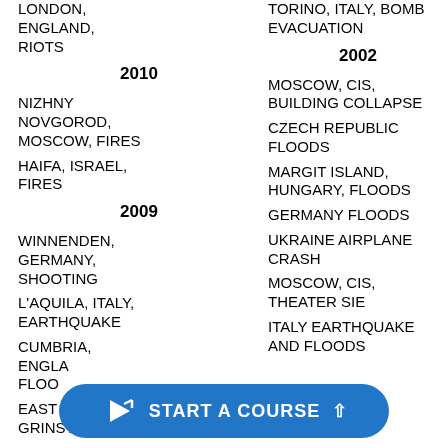LONDON, ENGLAND, RIOTS
TORINO, ITALY, BOMB EVACUATION
2010
2002
NIZHNY NOVGOROD, MOSCOW, FIRES
HAIFA, ISRAEL, FIRES
MOSCOW, CIS, BUILDING COLLAPSE
CZECH REPUBLIC FLOODS
MARGIT ISLAND, HUNGARY, FLOODS
GERMANY FLOODS
UKRAINE AIRPLANE CRASH
MOSCOW, CIS, THEATER SIE
ITALY EARTHQUAKE AND FLOODS
2009
WINNENDEN, GERMANY, SHOOTING
L'AQUILA, ITALY, EARTHQUAKE
CUMBRIA, ENGLAND, FLOODS
EAST GRINSTEAD,
[Figure (other): Blue rounded button with cursor icon reading START A COURSE with an up arrow]